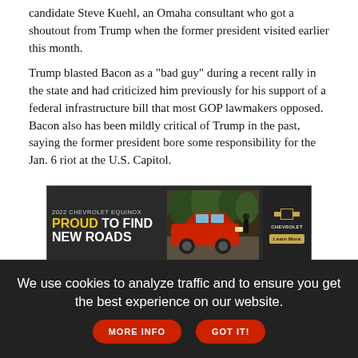candidate Steve Kuehl, an Omaha consultant who got a shoutout from Trump when the former president visited earlier this month.
Trump blasted Bacon as a "bad guy" during a recent rally in the state and had criticized him previously for his support of a federal infrastructure bill that most GOP lawmakers opposed. Bacon also has been mildly critical of Trump in the past, saying the former president bore some responsibility for the Jan. 6 riot at the U.S. Capitol.
[Figure (photo): 2022 Chevrolet Equinox advertisement with red SUV. Text reads: '2022 CHEVROLET EQUINOX', 'PROUD TO FIND NEW ROADS'. Chevrolet logo and 'Learn More' button on right side.]
Trump stopped far short of officially endorsing Kuehl, however, saying: "I think Steve will do well. Good luck, Steve, whoever the hell you are."
Sen. Mike Flood, a former speaker of the Nebraska Legislature, won in the state's 1st Congressional District over five other Republican
We use cookies to analyze traffic and to ensure you get the best experience on our website.
MORE INFO
GOT IT!